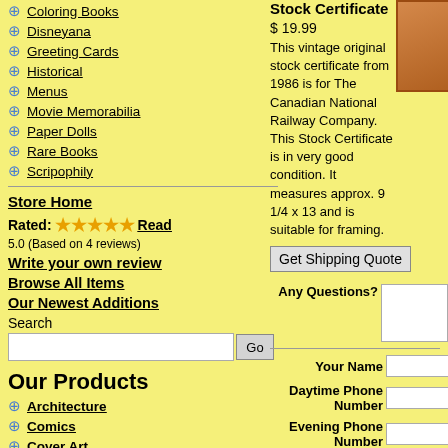⊕ Coloring Books
⊕ Disneyana
⊕ Greeting Cards
⊕ Historical
⊕ Menus
⊕ Movie Memorabilia
⊕ Paper Dolls
⊕ Rare Books
⊕ Scripophily
Store Home
Rated: ★★★★★ Read
5.0 (Based on 4 reviews)
Write your own review
Browse All Items
Our Newest Additions
Search
Our Products
⊕ Architecture
⊕ Comics
⊕ Cover Art
⊕ Decorative Arts
⊕ Finds and Treasures
Stock Certificate
$ 19.99
This vintage original stock certificate from 1986 is for The Canadian National Railway Company. This Stock Certificate is in very good condition. It measures approx. 9 1/4 x 13 and is suitable for framing.
Get Shipping Quote
Any Questions?
Your Name
Daytime Phone Number
Evening Phone Number